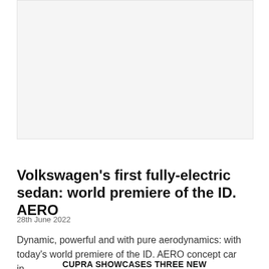[Figure (photo): Photograph placeholder area - likely a car image for the article]
GREEN CAR NEWS
Volkswagen's first fully-electric sedan: world premiere of the ID. AERO
28th June 2022
Dynamic, powerful and with pure aerodynamics: with today's world premiere of the ID. AERO concept car in...
CUPRA SHOWCASES THREE NEW